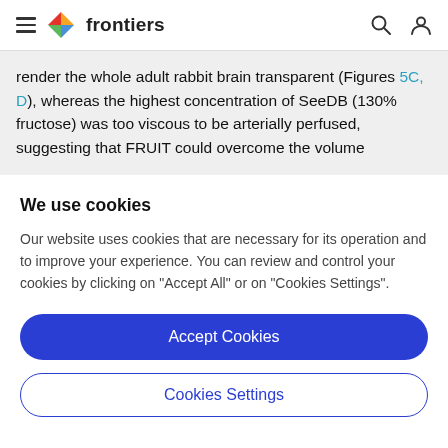frontiers
render the whole adult rabbit brain transparent (Figures 5C, D), whereas the highest concentration of SeeDB (130% fructose) was too viscous to be arterially perfused, suggesting that FRUIT could overcome the volume
We use cookies
Our website uses cookies that are necessary for its operation and to improve your experience. You can review and control your cookies by clicking on "Accept All" or on "Cookies Settings".
Accept Cookies
Cookies Settings